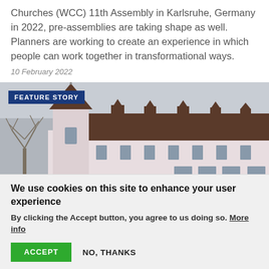Churches (WCC) 11th Assembly in Karlsruhe, Germany in 2022, pre-assemblies are taking shape as well. Planners are working to create an experience in which people can work together in transformational ways.
10 February 2022
[Figure (photo): Photograph of a European building with a pointed tower, dark roof, white walls and dormer windows, with bare trees visible on the left. A 'FEATURE STORY' label overlays the top-left corner.]
We use cookies on this site to enhance your user experience
By clicking the Accept button, you agree to us doing so. More info
ACCEPT   NO, THANKS